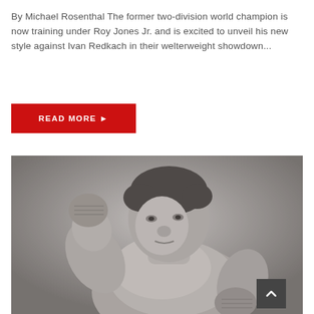By Michael Rosenthal The former two-division world champion is now training under Roy Jones Jr. and is excited to unveil his new style against Ivan Redkach in their welterweight showdown...
READ MORE ▶
[Figure (photo): Black and white historical photograph of a bare-chested male boxer in a fighting stance, with fists raised and wearing hand wraps.]